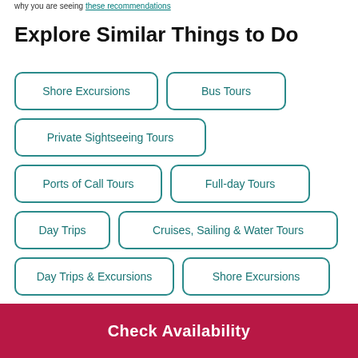why you are seeing these recommendations
Explore Similar Things to Do
Shore Excursions
Bus Tours
Private Sightseeing Tours
Ports of Call Tours
Full-day Tours
Day Trips
Cruises, Sailing & Water Tours
Day Trips & Excursions
Shore Excursions
Private & Custom Tours
Check Availability